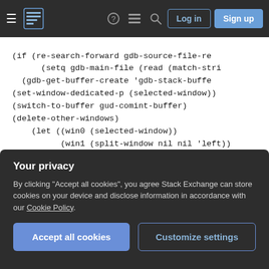Stack Exchange navigation bar with hamburger menu, logo, help, chat, search icons, Log in and Sign up buttons
(if (re-search-forward gdb-source-file-re
        (setq gdb-main-file (read (match-stri
    (gdb-get-buffer-create 'gdb-stack-buffe
  (set-window-dedicated-p (selected-window))
  (switch-to-buffer gud-comint-buffer)
  (delete-other-windows)
      (let ((win0 (selected-window))
            (win1 (split-window nil nil 'left))
            (win2 (split-window-below (/ (* (wi
            )
      (select-window win2)
      (gdb-set-window-buffer (gdb-stack-buffe
      (select-window win1)
      (set-window-buffer
       win1
Your privacy
By clicking "Accept all cookies", you agree Stack Exchange can store cookies on your device and disclose information in accordance with our Cookie Policy.
Accept all cookies   Customize settings
(setq gdb-source-window (selected-windo
(let ((win2 (split-window nil (/ (* (wi